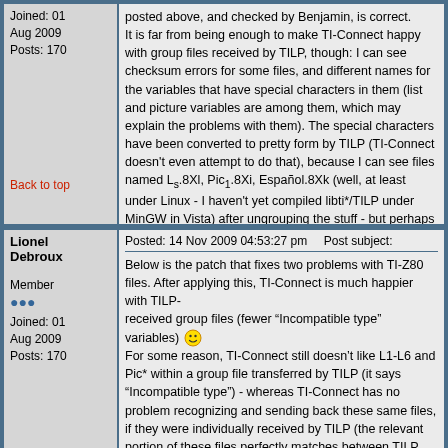Joined: 01 Aug 2009
Posts: 170
posted above, and checked by Benjamin, is correct. It is far from being enough to make TI-Connect happy with group files received by TILP, though: I can see checksum errors for some files, and different names for the variables that have special characters in them (list and picture variables are among them, which may explain the problems with them). The special characters have been converted to pretty form by TILP (TI-Connect doesn't even attempt to do that), because I can see files named Ls.8Xl, Pic1.8Xi, Español.8Xk (well, at least under Linux - I haven't yet compiled libti*/TILP under MinGW in Vista) after ungrouping the stuff - but perhaps they aren't converted back to a form the calculator likes.
Back to top
Posted: 14 Nov 2009 04:53:27 pm    Post subject:
Lionel Debroux
Member
Joined: 01 Aug 2009
Posts: 170
Below is the patch that fixes two problems with TI-Z80 files. After applying this, TI-Connect is much happier with TILP-received group files (fewer "Incompatible type" variables) For some reason, TI-Connect still doesn't like L1-L6 and Pic* within a group file transferred by TILP (it says "Incompatible type") - whereas TI-Connect has no problem recognizing and sending back these same files, if they were individually received by TILP (the relevant portion of these files perfectly matches between TILP and TI-Connect, anyway). Sigh.

This patch was generated with git, so it must be applied with `patch -p1 < ...`.